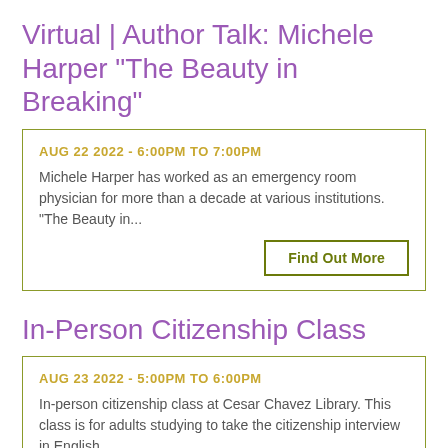Virtual | Author Talk: Michele Harper "The Beauty in Breaking"
AUG 22 2022 - 6:00PM TO 7:00PM
Michele Harper has worked as an emergency room physician for more than a decade at various institutions. "The Beauty in...
Find Out More
In-Person Citizenship Class
AUG 23 2022 - 5:00PM TO 6:00PM
In-person citizenship class at Cesar Chavez Library. This class is for adults studying to take the citizenship interview in English.